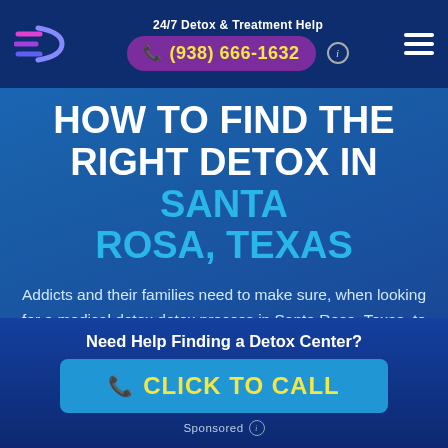24/7 Detox & Treatment Help (938) 666-1632
HOW TO FIND THE RIGHT DETOX IN SANTA ROSA, TEXAS
Addicts and their families need to make sure, when looking for a medical detox detox process in Santa Rosa, Texas, to examine the qualifications, therapies used, and general
Need Help Finding a Detox Center? CLICK TO CALL
Sponsored